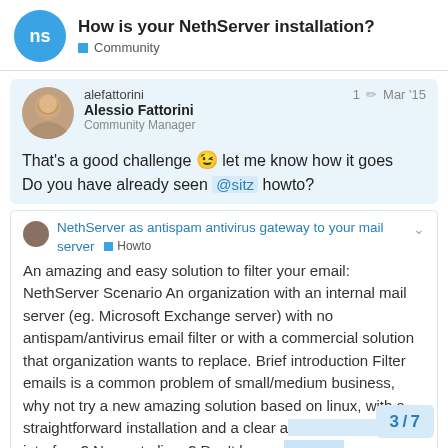How is your NethServer installation?
Community
alefattorini
Alessio Fattorini
Community Manager
1 Mar '15
That's a good challenge 😉 let me know how it goes
Do you have already seen @sitz howto?
NethServer as antispam antivirus gateway to your mail server  Howto
An amazing and easy solution to filter your email: NethServer Scenario An organization with an internal mail server (eg. Microsoft Exchange server) with no antispam/antivirus email filter or with a commercial solution that organization wants to replace. Brief introduction Filter emails is a common problem of small/medium business, why not try a new amazing solution based on linux, with a straightforward installation and a clear a... interface? Newer to linux? Don't be sca...
3 / 7